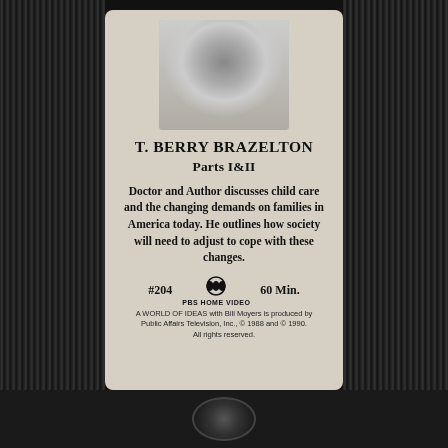[Figure (photo): Black and white halftone portrait photograph of T. Berry Brazelton, a smiling older man]
T. BERRY BRAZELTON
Parts I&II
Doctor and Author discusses child care and the changing demands on families in America today. He outlines how society will need to adjust to cope with these changes.
#204   PBS HOME VIDEO   60 Min.
A WORLD OF IDEAS with Bill Moyers is produced by Public Affairs Television, Inc., © 1988 and © 1990. All rights reserved.